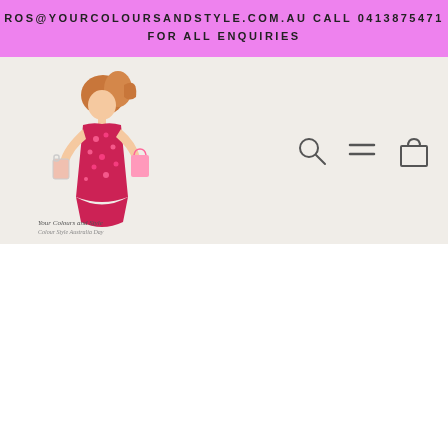ROS@YOURCOLOURSANDSTYLE.COM.AU CALL 0413875471 FOR ALL ENQUIRIES
[Figure (logo): Your Colours and Style logo featuring an illustrated woman in a red floral dress holding shopping bags, with cursive text 'Your Colours and Style' and 'Colour Style Australia Day']
[Figure (illustration): Navigation icons: search (magnifying glass), menu (hamburger lines), and cart (shopping bag)]